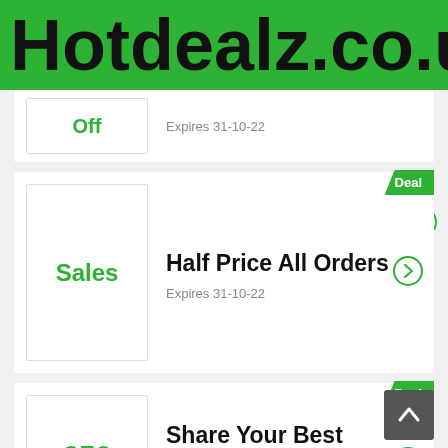Hotdealz.co.uk
Off — Expires 31-10-22
Deal — Sales — Half Price All Orders — Expires 31-10-22
Deal — £50 Off — Share Your Best Outdoor Moment And Win A £50... — Expires 31-10-22